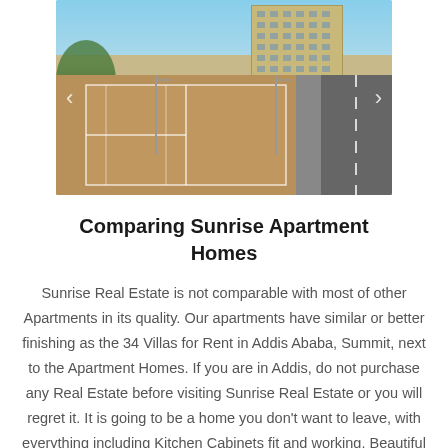[Figure (photo): Exterior photo of Sunrise Apartment Homes showing a tennis/sports court in the foreground, a multi-story beige apartment building in the background, trees on the left, and a road on the right. Navigation arrows visible on left and right sides.]
Comparing Sunrise Apartment Homes
Sunrise Real Estate is not comparable with most of other Apartments in its quality. Our apartments have similar or better finishing as the 34 Villas for Rent in Addis Ababa, Summit, next to the Apartment Homes. If you are in Addis, do not purchase any Real Estate before visiting Sunrise Real Estate or you will regret it. It is going to be a home you don't want to leave, with everything including Kitchen Cabinets fit and working. Beautiful Spot Lights and Flooring, Landline phone